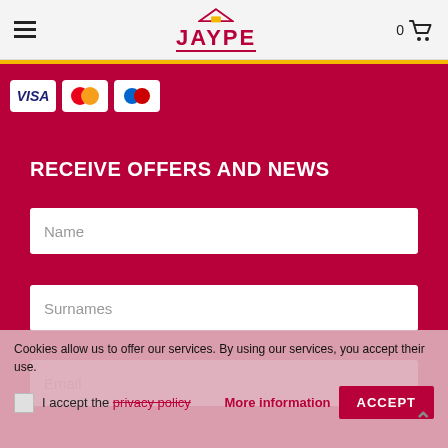JAYPE
[Figure (logo): Payment card logos: Visa, Mastercard, Maestro on dark red background]
RECEIVE OFFERS AND NEWS
Name
Surnames
Email
Cookies allow us to offer our services. By using our services, you accept their use.
I accept the privacy policy
More information
ACCEPT